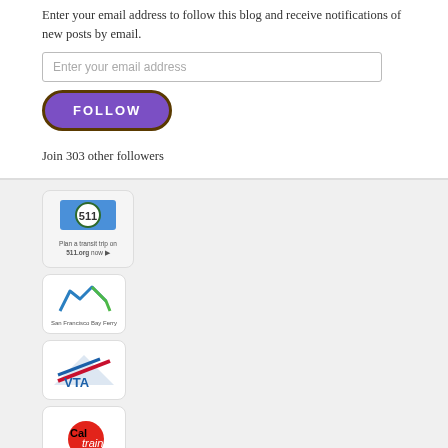Enter your email address to follow this blog and receive notifications of new posts by email.
Enter your email address
FOLLOW
Join 303 other followers
[Figure (logo): 511 transit trip planner logo with text 'Plan a transit trip on 511.org now']
[Figure (logo): San Francisco Bay Ferry logo]
[Figure (logo): VTA (Valley Transportation Authority) logo]
[Figure (logo): Caltrain logo]
[Figure (logo): SFMTA logo (partially visible)]